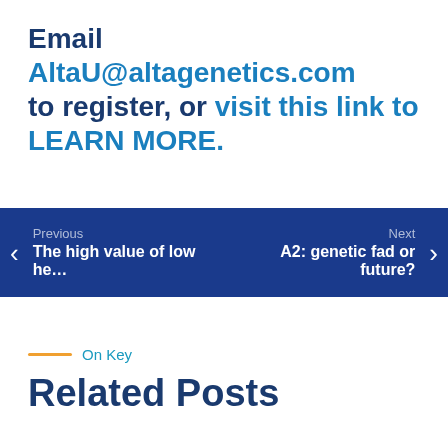Email AltaU@altagenetics.com to register, or visit this link to LEARN MORE.
Previous: The high value of low he... | Next: A2: genetic fad or future?
On Key
Related Posts